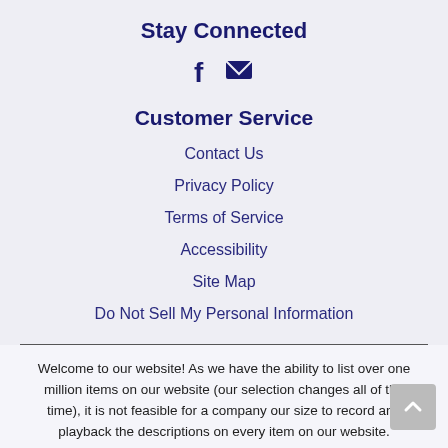Stay Connected
[Figure (illustration): Social media icons: Facebook and email envelope]
Customer Service
Contact Us
Privacy Policy
Terms of Service
Accessibility
Site Map
Do Not Sell My Personal Information
Welcome to our website! As we have the ability to list over one million items on our website (our selection changes all of the time), it is not feasible for a company our size to record and playback the descriptions on every item on our website. However, if you have a disability we are here to help you. Please call our disability services phone line at (570) 876-2318 during regular business hours and one of our kind and friendly personal shoppers will help you navigate through our website, help conduct advanced searches, help you choose the item you are looking for with the specifications you are seeking, read you the specifications of any item and